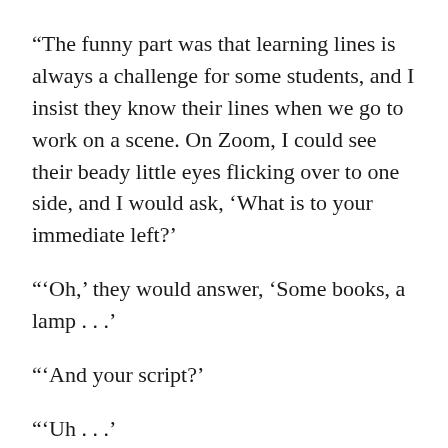“The funny part was that learning lines is always a challenge for some students, and I insist they know their lines when we go to work on a scene. On Zoom, I could see their beady little eyes flicking over to one side, and I would ask, ‘What is to your immediate left?’
“‘Oh,’ they would answer, ‘Some books, a lamp . . .’
“‘And your script?’
“‘Uh . . .’
“‘Do you think I can’t tell when you are reading from your script?’
We quickly got over that ploy! Essentially I